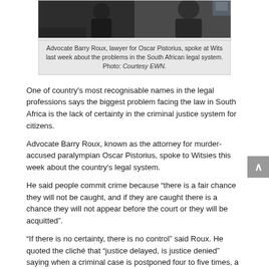[Figure (photo): Two people in dark robes/suits, one appearing to speak or look down, courtroom setting, dark background.]
Advocate Barry Roux, lawyer for Oscar Pistorius, spoke at Wits last week about the problems in the South African legal system. Photo: Courtesy EWN.
One of country's most recognisable names in the legal professions says the biggest problem facing the law in South Africa is the lack of certainty in the criminal justice system for citizens.
Advocate Barry Roux, known as the attorney for murder-accused paralympian Oscar Pistorius, spoke to Witsies this week about the country's legal system.
He said people commit crime because “there is a fair chance they will not be caught, and if they are caught there is a chance they will not appear before the court or they will be acquitted”.
“If there is no certainty, there is no control” said Roux. He quoted the cliché that “justice delayed, is justice denied” saying when a criminal case is postponed four to five times, a lot happens in the natural system of life which hampers the progress of a case.
Policemen resign, investigating officers die and a witness who has attended court four to five times without giving a testimony will probably not come back a sixth time. Or if they do, the witness may